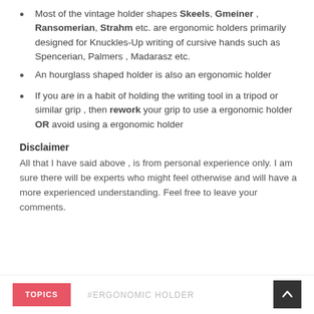Most of the vintage holder shapes Skeels, Gmeiner , Ransomerian, Strahm etc. are ergonomic holders primarily designed for Knuckles-Up writing of cursive hands such as Spencerian, Palmers , Madarasz etc.
An hourglass shaped holder is also an ergonomic holder
If you are in a habit of holding the writing tool in a tripod or similar grip , then rework your grip to use a ergonomic holder OR avoid using a ergonomic holder
Disclaimer
All that I have said above , is from personal experience only. I am sure there will be experts who might feel otherwise and will have a more experienced understanding. Feel free to leave your comments.
TOPICS  #ERGONOMIC HOLDER